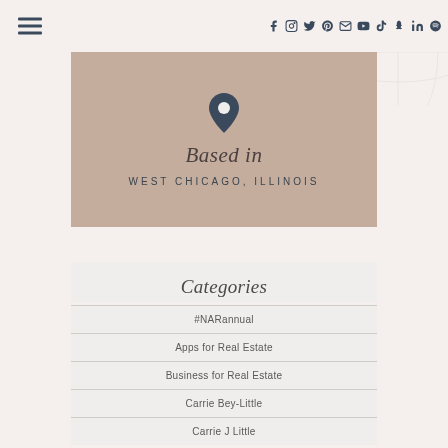Navigation header with hamburger menu and social media icons: Facebook, Instagram, Twitter, Pinterest, Email, YouTube, TikTok, Snapchat, LinkedIn, Spotify
[Figure (infographic): Beige/tan rectangular banner with a map pin icon at top, text 'Based in' in italic serif, and 'WEST CHICAGO, ILLINOIS' in spaced caps below]
Based in
WEST CHICAGO, ILLINOIS
Categories
#NARannual
Apps for Real Estate
Business for Real Estate
Carrie Bey-Little
Carrie J Little